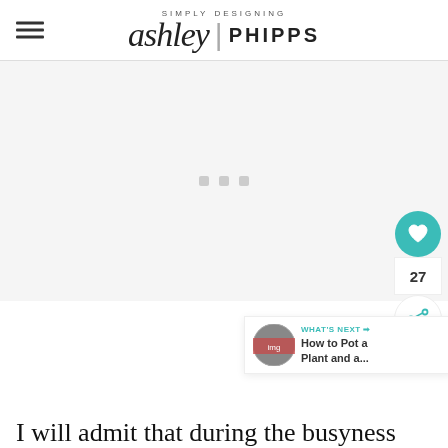Simply Designing ashley | PHIPPS
[Figure (other): Advertisement placeholder area with three grey dots/squares centered in a light grey box]
[Figure (infographic): Social sidebar with teal heart button, count of 27, and share button; plus a 'What's Next' card with thumbnail image linking to 'How to Pot a Plant and a...']
I will admit that during the busyness